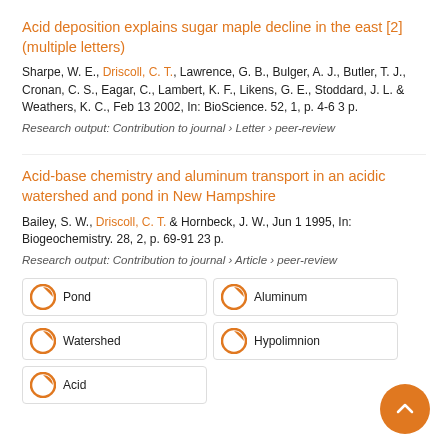Acid deposition explains sugar maple decline in the east [2] (multiple letters)
Sharpe, W. E., Driscoll, C. T., Lawrence, G. B., Bulger, A. J., Butler, T. J., Cronan, C. S., Eagar, C., Lambert, K. F., Likens, G. E., Stoddard, J. L. & Weathers, K. C., Feb 13 2002, In: BioScience. 52, 1, p. 4-6 3 p.
Research output: Contribution to journal › Letter › peer-review
Acid-base chemistry and aluminum transport in an acidic watershed and pond in New Hampshire
Bailey, S. W., Driscoll, C. T. & Hornbeck, J. W., Jun 1 1995, In: Biogeochemistry. 28, 2, p. 69-91 23 p.
Research output: Contribution to journal › Article › peer-review
Pond
Aluminum
Watershed
Hypolimnion
Acid